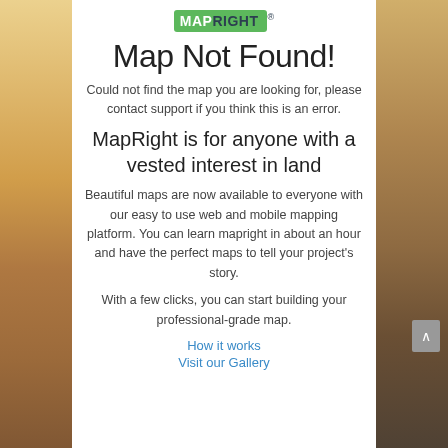[Figure (logo): MapRight logo with green background, white MAP text, dark RIGHT text, blue checkmark, and registered trademark symbol]
Map Not Found!
Could not find the map you are looking for, please contact support if you think this is an error.
MapRight is for anyone with a vested interest in land
Beautiful maps are now available to everyone with our easy to use web and mobile mapping platform. You can learn mapright in about an hour and have the perfect maps to tell your project’s story.
With a few clicks, you can start building your professional-grade map.
How it works
Visit our Gallery